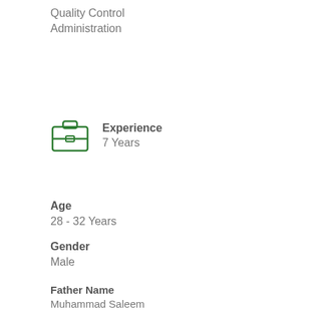Quality Control
Administration
[Figure (illustration): Green briefcase icon]
Experience
7 Years
Age
28 - 32 Years
Gender
Male
Father Name
Muhammad Saleem
Address
P/O Kohi Wala Tehsil Kabirwala District Khanewal